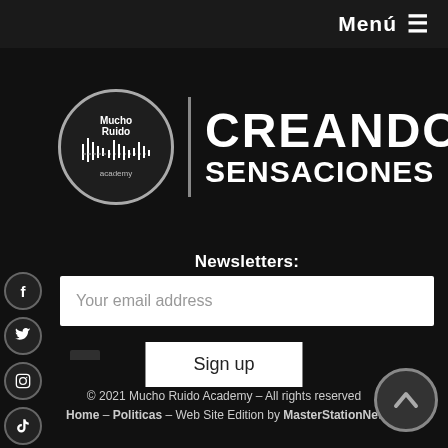Menú ≡
[Figure (logo): Mucho Ruido Academy circular logo with waveform graphic, followed by vertical divider and text CREANDO SENSACIONES]
Newsletters:
Your email address
Sign up
[Figure (other): Background bar chart visualization (audio equalizer style bars in dark gray)]
© 2021 Mucho Ruido Academy – All rights reserved
Home - Politicas - Web Site Edition by MasterStationNet